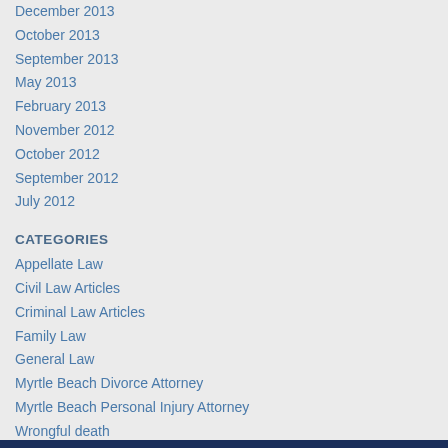December 2013
October 2013
September 2013
May 2013
February 2013
November 2012
October 2012
September 2012
July 2012
CATEGORIES
Appellate Law
Civil Law Articles
Criminal Law Articles
Family Law
General Law
Myrtle Beach Divorce Attorney
Myrtle Beach Personal Injury Attorney
Wrongful death